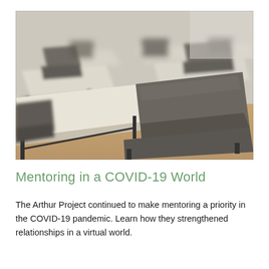[Figure (photo): Rows of empty school desks and chairs in a classroom, photographed at an angle. The chairs and desk tops are gray/beige tones with black metal frames. The image has a shallow depth of field with background chairs blurred.]
Mentoring in a COVID-19 World
The Arthur Project continued to make mentoring a priority in the COVID-19 pandemic. Learn how they strengthened relationships in a virtual world.